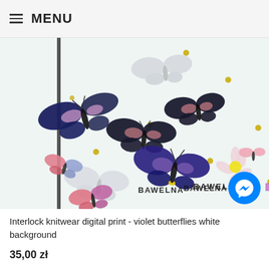≡ MENU
[Figure (photo): Interlock knitwear fabric with violet butterflies digital print on white background. Various butterflies in dark navy, pink, violet, and gray tones scattered across a light background with small flowers and gold dots. Watermark text 'BAWELNA TKANINY' visible at bottom.]
Interlock knitwear digital print - violet butterflies white background
35,00 zł